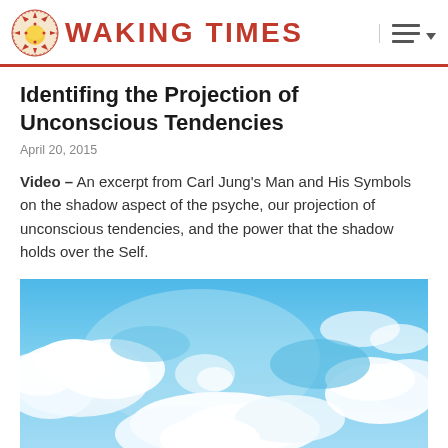WAKING TIMES
Identifing the Projection of Unconscious Tendencies
April 20, 2015
Video – An excerpt from Carl Jung's Man and His Symbols on the shadow aspect of the psyche, our projection of unconscious tendencies, and the power that the shadow holds over the Self.
[Figure (photo): Blue sky with white clouds photograph used as article hero image]